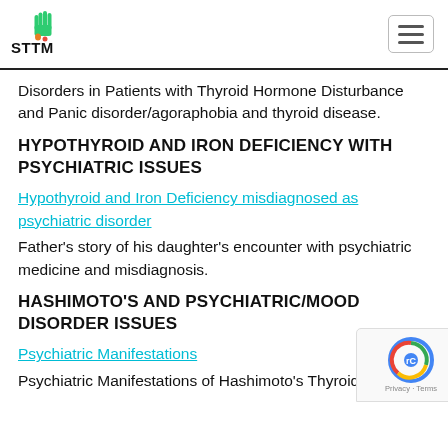STTM logo and navigation
Disorders in Patients with Thyroid Hormone Disturbance and Panic disorder/agoraphobia and thyroid disease.
HYPOTHYROID AND IRON DEFICIENCY WITH PSYCHIATRIC ISSUES
Hypothyroid and Iron Deficiency misdiagnosed as psychiatric disorder
Father's story of his daughter's encounter with psychiatric medicine and misdiagnosis.
HASHIMOTO'S AND PSYCHIATRIC/MOOD DISORDER ISSUES
Psychiatric Manifestations
Psychiatric Manifestations of Hashimoto's Thyroiditis by